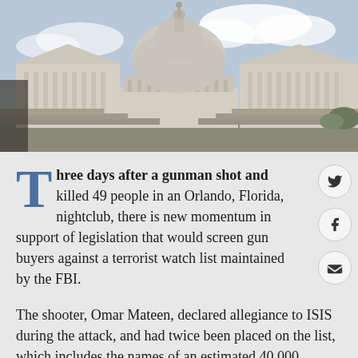[Figure (photo): Photograph of the US Capitol building exterior, showing steps, columns, and dome against a cloudy sky]
Three days after a gunman shot and killed 49 people in an Orlando, Florida, nightclub, there is new momentum in support of legislation that would screen gun buyers against a terrorist watch list maintained by the FBI.
The shooter, Omar Mateen, declared allegiance to ISIS during the attack, and had twice been placed on the list, which includes the names of an estimated 40,000 Americans. (He was reportedly not on the